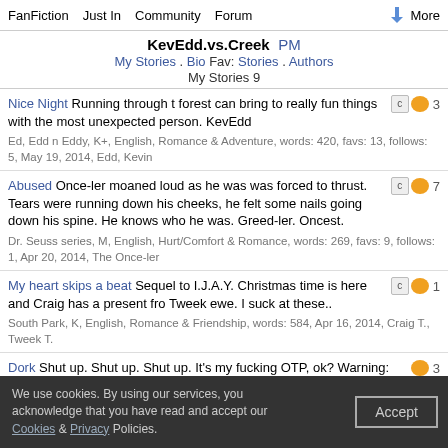FanFiction  Just In  Community  Forum  More
KevEdd.vs.Creek PM
My Stories . Bio Fav: Stories . Authors
My Stories 9
Nice Night Running through t forest can bring to really fun things with the most unexpected person. KevEdd
Ed, Edd n Eddy, K+, English, Romance & Adventure, words: 420, favs: 13, follows: 5, May 19, 2014, Edd, Kevin
Abused Once-ler moaned loud as he was was forced to thrust. Tears were running down his cheeks, he felt some nails going down his spine. He knows who he was. Greed-ler. Oncest.
Dr. Seuss series, M, English, Hurt/Comfort & Romance, words: 269, favs: 9, follows: 1, Apr 20, 2014, The Once-ler
My heart skips a beat Sequel to I.J.A.Y. Christmas time is here and Craig has a present fro Tweek ewe. I suck at these..
South Park, K, English, Romance & Friendship, words: 584, Apr 16, 2014, Craig T., Tweek T.
Dork Shut up. Shut up. Shut up. It's my fucking OTP, ok? Warning: Contains gayness and wonderful, childhood ruining pairings.
Ed, Edd n Eddy, M, English, words: 1k+, favs: 10, follows: 4, Mar 24, 2014, Edd, Kevin
fauteur de troubles Il commence po... un canapé !
We use cookies. By using our services, you acknowledge that you have read and accept our Cookies & Privacy Policies.